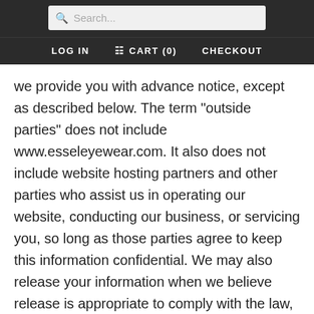Search... | LOG IN  CART (0)  CHECKOUT
we provide you with advance notice, except as described below. The term "outside parties" does not include www.esseleyewear.com. It also does not include website hosting partners and other parties who assist us in operating our website, conducting our business, or servicing you, so long as those parties agree to keep this information confidential. We may also release your information when we believe release is appropriate to comply with the law, enforce our site policies, or protect ours